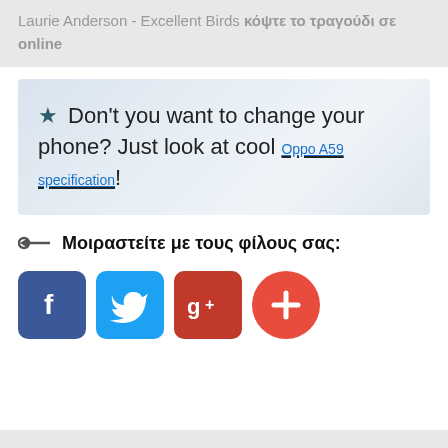Laurie Anderson - Excellent Birds κόψτε το τραγούδι σε online
★ Don't you want to change your phone? Just look at cool Oppo A59 specification!
⊣◉← Μοιραστείτε με τους φίλους σας:
[Figure (illustration): Social sharing buttons: Facebook (blue rounded square with f), Twitter (light blue rounded square with bird), Google+ (dark red rounded square with g+), and a red circle with plus sign for more sharing options]